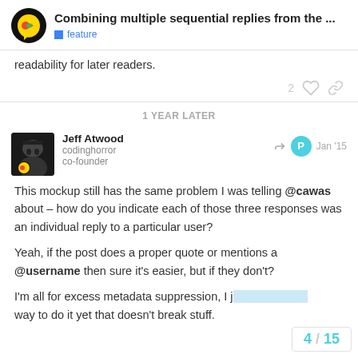Combining multiple sequential replies from the ...
readability for later readers.
1 YEAR LATER
Jeff Atwood codinghorror co-founder Jan '15
This mockup still has the same problem I was telling @cawas about – how do you indicate each of those three responses was an individual reply to a particular user?
Yeah, if the post does a proper quote or mentions a @username then sure it's easier, but if they don't?
I'm all for excess metadata suppression, I just don't see a way to do it yet that doesn't break stuff.
4 / 15